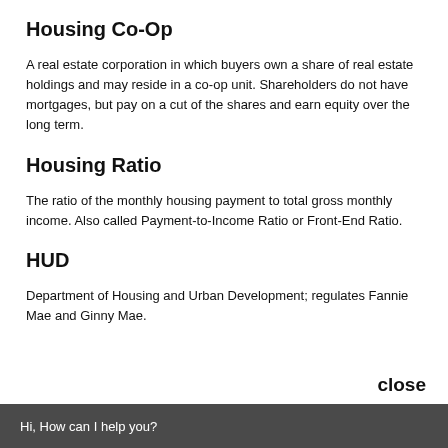Housing Co-Op
A real estate corporation in which buyers own a share of real estate holdings and may reside in a co-op unit. Shareholders do not have mortgages, but pay on a cut of the shares and earn equity over the long term.
Housing Ratio
The ratio of the monthly housing payment to total gross monthly income. Also called Payment-to-Income Ratio or Front-End Ratio.
HUD
Department of Housing and Urban Development; regulates Fannie Mae and Ginny Mae.
close
Hi, How can I help you?